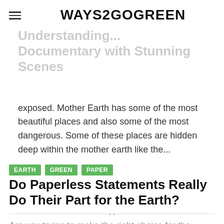WAYS2GOGREEN
Understanding... Documentary with Stunning Scenes
exposed. Mother Earth has some of the most beautiful places and also some of the most dangerous. Some of these places are hidden deep within the mother earth like the...
EARTH
GREEN
PAPER
Do Paperless Statements Really Do Their Part for the Earth?
Are you trying to make the right choice for the earth? Paperless